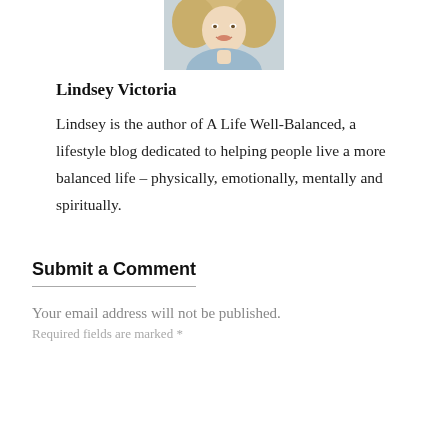[Figure (photo): Partial photo of a blonde woman (Lindsey Victoria), cropped at top of page showing face and upper body]
Lindsey Victoria
Lindsey is the author of A Life Well-Balanced, a lifestyle blog dedicated to helping people live a more balanced life – physically, emotionally, mentally and spiritually.
Submit a Comment
Your email address will not be published.
Required fields are marked *